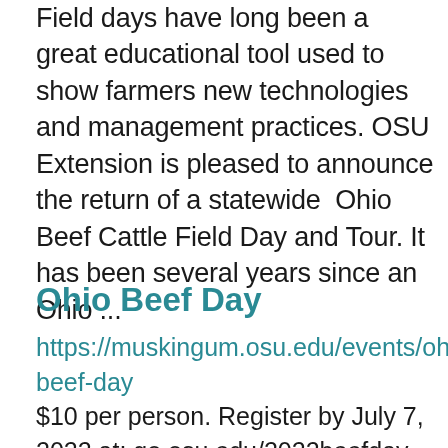Field days have long been a great educational tool used to show farmers new technologies and management practices. OSU Extension is pleased to announce the return of a statewide Ohio Beef Cattle Field Day and Tour. It has been several years since an Ohio ...
Ohio Beef Day
https://muskingum.osu.edu/events/ohio-beef-day $10 per person. Register by July 7, 2022 at: go.osu.edu/2022beefday Departs Muskingum Livestock 944 Malinda St. Zanesville, OH 43701 at 9:00 AM Link to Program Flier. From OSU Beef News Field...